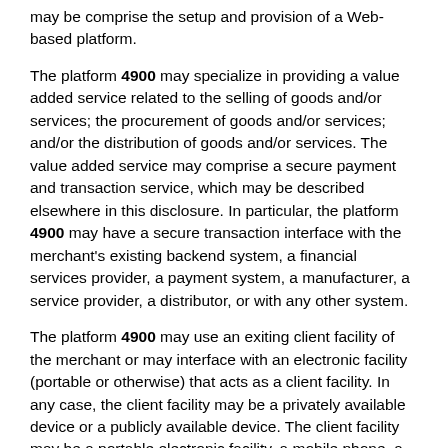may be comprise the setup and provision of a Web-based platform.
The platform 4900 may specialize in providing a value added service related to the selling of goods and/or services; the procurement of goods and/or services; and/or the distribution of goods and/or services. The value added service may comprise a secure payment and transaction service, which may be described elsewhere in this disclosure. In particular, the platform 4900 may have a secure transaction interface with the merchant's existing backend system, a financial services provider, a payment system, a manufacturer, a service provider, a distributor, or with any other system.
The platform 4900 may use an exiting client facility of the merchant or may interface with an electronic facility (portable or otherwise) that acts as a client facility. In any case, the client facility may be a privately available device or a publicly available device. The client facility may be a portable electronic facility, a mobile phone, a personal computer, a point-of-sale terminal, a kiosk, and so forth. The client facility may conduct a secure transaction, which may without limitation comprise accepting a payment,